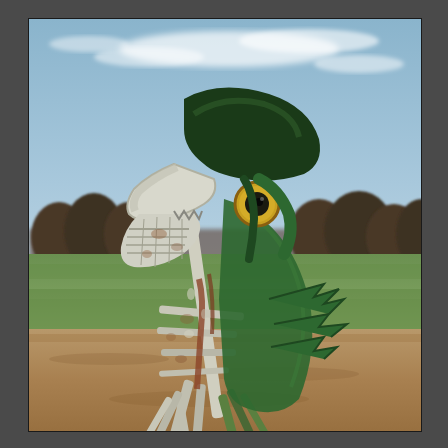[Figure (photo): Outdoor photograph of a large folk art sculpture made from repurposed car parts and scrap metal, shaped to resemble a frog or fish creature with a green painted body, yellow eye, open white mouth/hood, and metal legs/ribs, standing on a dirt and gravel surface with a green grassy field and treeline in the background under a partly cloudy blue sky.]